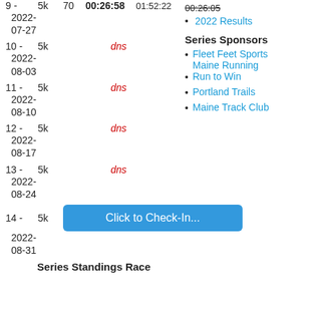| Race# | Dist | Age | Time | Pace |
| --- | --- | --- | --- | --- |
| 9 - 2022-07-27 | 5k | 70 | 00:26:58 | 01:52:22 |
| 10 - 2022-08-03 | 5k |  | dns |  |
| 11 - 2022-08-10 | 5k |  | dns |  |
| 12 - 2022-08-17 | 5k |  | dns |  |
| 13 - 2022-08-24 | 5k |  | dns |  |
| 14 - 2022-08-31 | 5k |  | Click to Check-In... |  |
2022 Results
Series Sponsors
Fleet Feet Sports Maine Running
Run to Win
Portland Trails
Maine Track Club
Series Standings Race